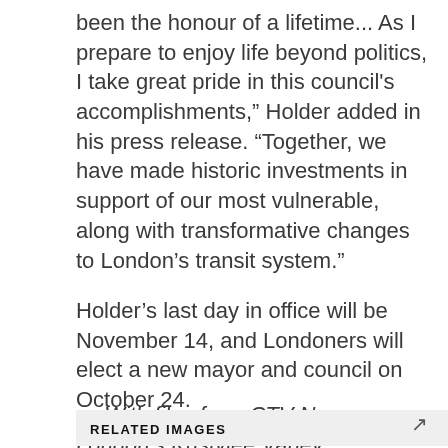been the honour of a lifetime... As I prepare to enjoy life beyond politics, I take great pride in this council's accomplishments," Holder added in his press release. "Together, we have made historic investments in support of our most vulnerable, along with transformative changes to London's transit system."
Holder's last day in office will be November 14, and Londoners will elect a new mayor and council on October 24.
— With files from CTV News London's Kristylee Varley
RELATED IMAGES